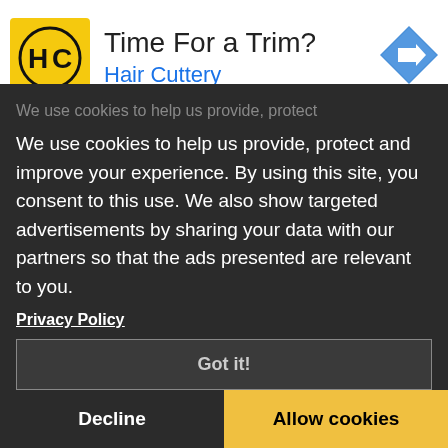[Figure (screenshot): Hair Cuttery advertisement banner with yellow square logo showing HC letters, text 'Time For a Trim?' and 'Hair Cuttery' in blue, and a blue diamond navigation arrow icon on the right]
We use cookies to help us provide, protect and improve your experience. By using this site, you consent to this use. We also show targeted advertisements by sharing your data with our partners so that the ads presented are relevant to you.
Privacy Policy
Got it!
Decline
Allow cookies